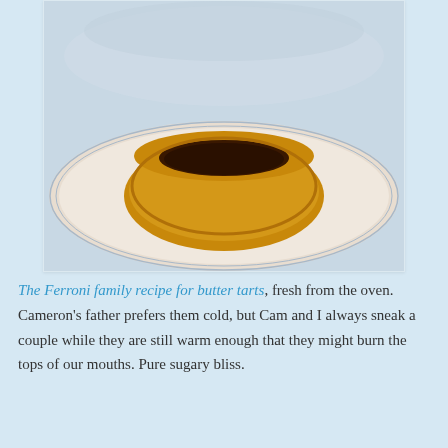[Figure (photo): A golden-brown butter tart with a dark caramel filling, sitting on a white plate with blue rim lines. The tart shell is rustic and slightly irregular with a rich, dark filling visible inside.]
The Ferroni family recipe for butter tarts, fresh from the oven. Cameron's father prefers them cold, but Cam and I always sneak a couple while they are still warm enough that they might burn the tops of our mouths. Pure sugary bliss.